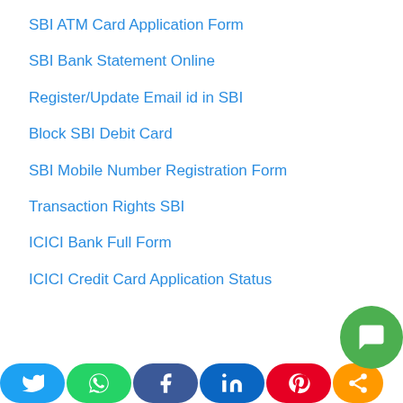SBI ATM Card Application Form
SBI Bank Statement Online
Register/Update Email id in SBI
Block SBI Debit Card
SBI Mobile Number Registration Form
Transaction Rights SBI
ICICI Bank Full Form
ICICI Credit Card Application Status
[Figure (other): Social media share buttons bar at the bottom: Twitter (blue), WhatsApp (green), Facebook (dark blue), LinkedIn (blue), Pinterest (red), Share (orange), and a green chat bubble icon]